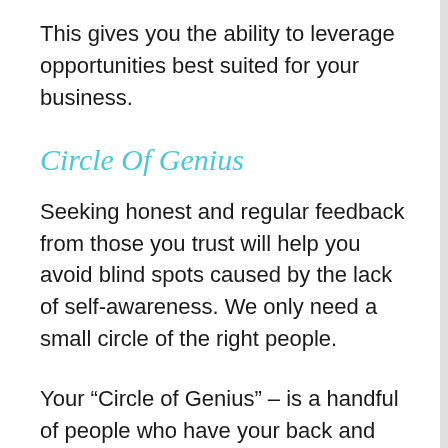This gives you the ability to leverage opportunities best suited for your business.
Circle Of Genius
Seeking honest and regular feedback from those you trust will help you avoid blind spots caused by the lack of self-awareness. We only need a small circle of the right people.
Your “Circle of Genius” – is a handful of people who have your back and will always give it to your straight. They’re supportive but don’t sugarcoat feedback